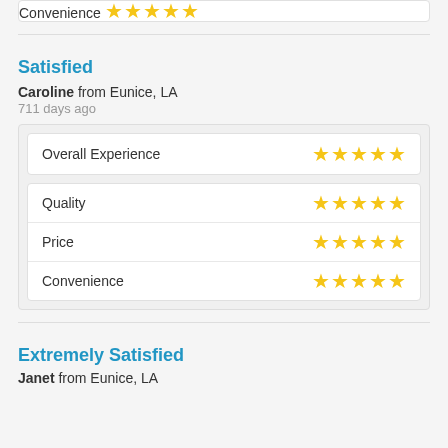Convenience — 5 stars
Satisfied
Caroline from Eunice, LA
711 days ago
| Category | Rating |
| --- | --- |
| Overall Experience | ★★★★★ |
| Quality | ★★★★★ |
| Price | ★★★★★ |
| Convenience | ★★★★★ |
Extremely Satisfied
Janet from Eunice, LA